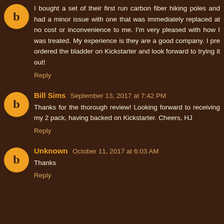I bought a set of their first run carbon fiber hiking poles and had a minor issue with one that was immediately replaced at no cost or inconvenience to me. I'm very pleased with how I was treated. My experience is they are a good company. I pre ordered the bladder on Kickstarter and look forward to trying it out!
Reply
Bill Sims September 13, 2017 at 7:42 PM
Thanks for the thorough review! Looking forward to receiving my 2 pack, having backed on Kickstarter. Cheers, HJ
Reply
Unknown October 11, 2017 at 6:03 AM
Thanks
Reply